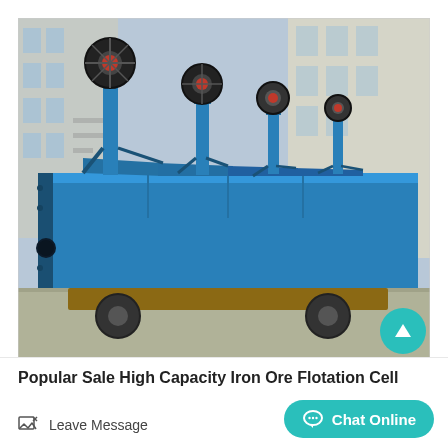[Figure (photo): A large blue iron ore flotation cell machine with multiple impeller towers and pulley wheels, displayed outdoors in an industrial yard with factory buildings in the background. The machine sits on a wooden transport platform with wheels.]
Popular Sale High Capacity Iron Ore Flotation Cell
Leave Message
Chat Online